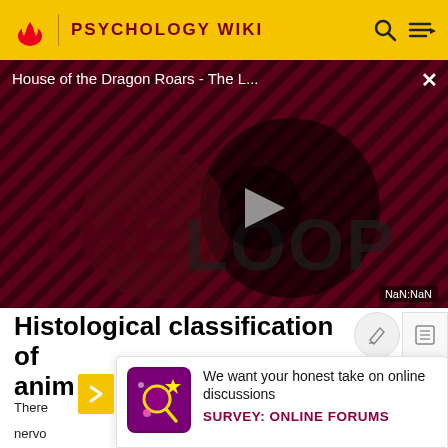PSYCHOLOGY WIKI
[Figure (screenshot): Video player thumbnail showing 'House of the Dragon Roars - The L...' with The Loop branding on a dark red/maroon striped background, play button in center, close button top right, NaN:NaN timestamp bottom right]
Histological classification of animals
There
nervo
[Figure (illustration): Survey popup icon - purple/magenta square with magnifying glass and star graphics]
We want your honest take on online discussions
SURVEY: ONLINE FORUMS